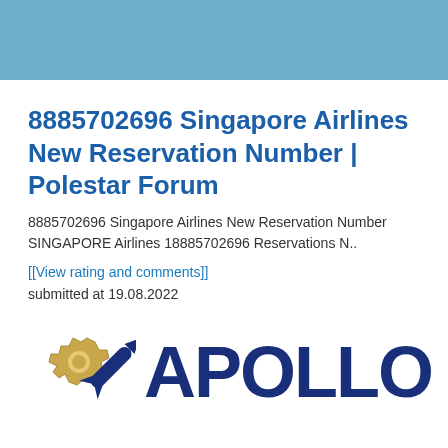[Figure (other): Light blue header banner background]
8885702696 Singapore Airlines New Reservation Number | Polestar Forum
8885702696 Singapore Airlines New Reservation Number SINGAPORE Airlines 18885702696 Reservations N..
[[View rating and comments]]
submitted at 19.08.2022
[Figure (logo): Apollo logo with golden gear, blue rocket, and dark blue APOLLO text]